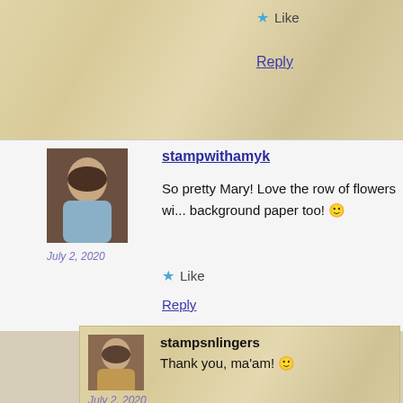Like
Reply
stampwithamyk
So pretty Mary! Love the row of flowers wi... background paper too! 🙂
July 2, 2020
Like
Reply
stampsnlingers
Thank you, ma'am! 🙂
July 2, 2020
Like
Reply